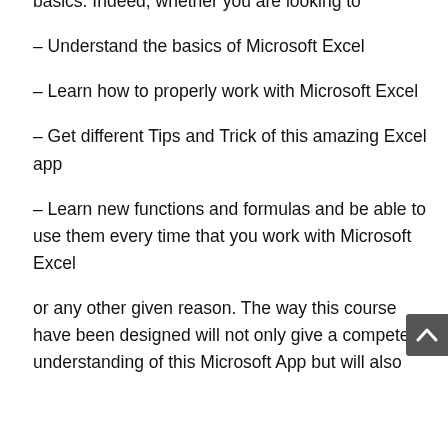basics. Indeed, whether you are looking to
– Understand the basics of Microsoft Excel
– Learn how to properly work with Microsoft Excel
– Get different Tips and Trick of this amazing Excel app
– Learn new functions and formulas and be able to use them every time that you work with Microsoft Excel
or any other given reason. The way this course have been designed will not only give a compete understanding of this Microsoft App but will also